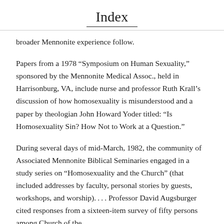Index
broader Mennonite experience follow.
Papers from a 1978 “Symposium on Human Sexuality,” sponsored by the Mennonite Medical Assoc., held in Harrisonburg, VA, include nurse and professor Ruth Krall’s discussion of how homosexuality is misunderstood and a paper by theologian John Howard Yoder titled: “Is Homosexuality Sin? How Not to Work at a Question.”
During several days of mid-March, 1982, the community of Associated Mennonite Biblical Seminaries engaged in a study series on “Homosexuality and the Church” (that included addresses by faculty, personal stories by guests, workshops, and worship). . . . Professor David Augsburger cited responses from a sixteen-item survey of fifty persons among Church of the